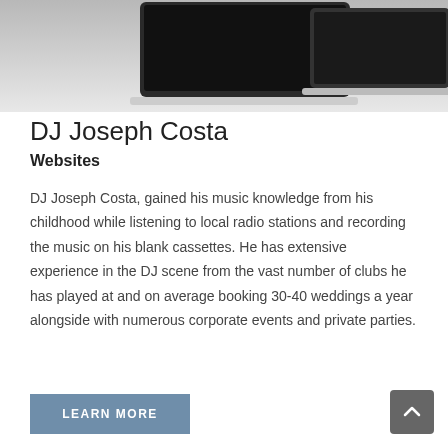[Figure (photo): Screenshot of laptops/computers on a light grey surface, showing dark screens, cropped at top]
DJ Joseph Costa
Websites
DJ Joseph Costa, gained his music knowledge from his childhood while listening to local radio stations and recording the music on his blank cassettes. He has extensive experience in the DJ scene from the vast number of clubs he has played at and on average booking 30-40 weddings a year alongside with numerous corporate events and private parties.